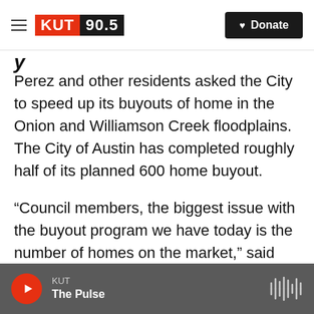KUT 90.5 | Donate
Perez and other residents asked the City to speed up its buyouts of home in the Onion and Williamson Creek floodplains. The City of Austin has completed roughly half of its planned 600 home buyout.
“Council members, the biggest issue with the buyout program we have today is the number of homes on the market,” said Lauraine Rizer with the city’s Office of Real Estate Services. She said part of the buyout program is helping the family to find a new home. But that’s become increasingly hard to
KUT | The Pulse